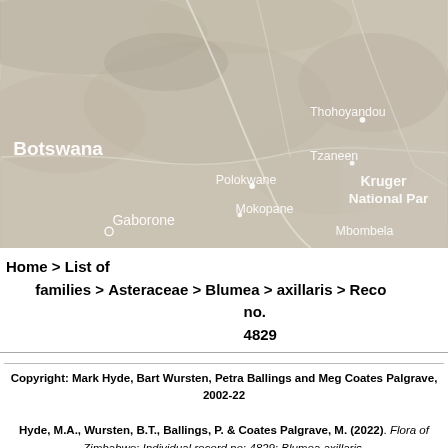[Figure (map): Satellite/terrain map showing southern Africa region including Botswana, Gaborone, Thohoyandou, Tzaneen, Polokwane, Mokopane, Mbombela, and Kruger National Park labels on a muted terrain background.]
Home > List of families > Asteraceae > Blumea > axillaris > Record no. 4829
Copyright: Mark Hyde, Bart Wursten, Petra Ballings and Meg Coates Palgrave, 2002-22
Hyde, M.A., Wursten, B.T., Ballings, P. & Coates Palgrave, M. (2022). Flora of Zimbabwe: Individual record no: 4829: Blumea axillaris. https://www.zimbabweflora.co.zw/speciesdata/species-record.php?record_id=4829, retrieved 19 August 2022
Site software last modified: 18 August 2018 1:29pm (GMT +2)
Terms of use